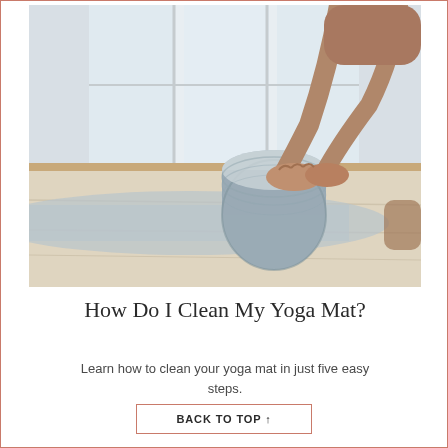[Figure (photo): A person's hands rolling up a light blue/grey yoga mat on a wooden floor, with windows and natural light in the background.]
How Do I Clean My Yoga Mat?
Learn how to clean your yoga mat in just five easy steps.
BACK TO TOP ↑